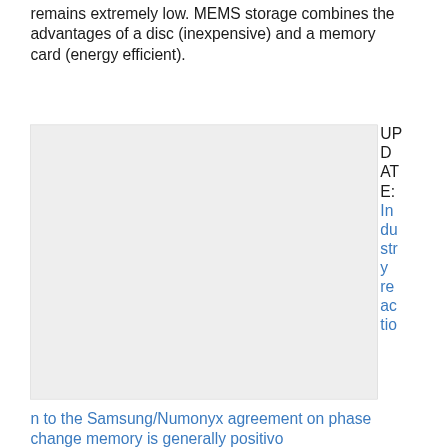remains extremely low. MEMS storage combines the advantages of a disc (inexpensive) and a memory card (energy efficient).
[Figure (other): A large gray/light rectangle representing an image placeholder]
UPDATE: Industry reaction to the Samsung/Numonyx agreement on phase change memory is generally positive